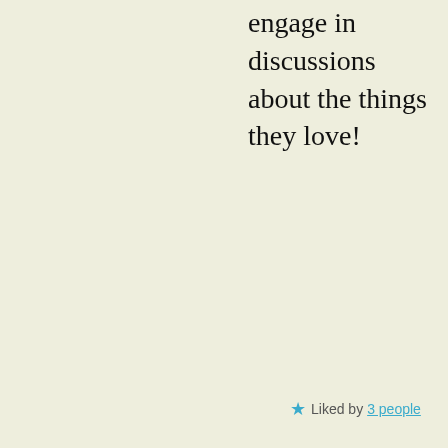engage in discussions about the things they love!
★ Liked by 3 people
[Figure (photo): Small thumbnail photo of a mountain road/valley scene]
ospreyshire December 8, 2020 at 4:22